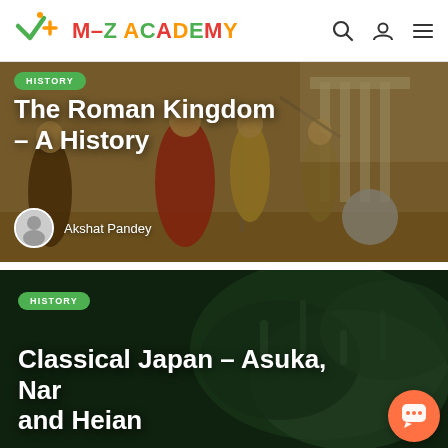M-Z ACADEMY
[Figure (photo): Historical painting showing Roman scene with multiple figures in classical dress, some carrying spears, set against ancient Roman architecture. Text overlay reads 'The Roman Kingdom – A History' with a green HISTORY badge and author 'Akshat Pandey'.]
[Figure (photo): Dark green mossy ancient structure or landscape with dark overlay. Green HISTORY badge visible. Text overlay reads 'Classical Japan – Asuka, Nara and Heian'. Orange chat button in bottom right corner.]